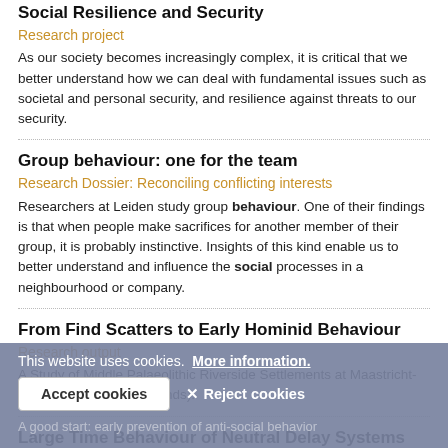Social Resilience and Security
Research project
As our society becomes increasingly complex, it is critical that we better understand how we can deal with fundamental issues such as societal and personal security, and resilience against threats to our security.
Group behaviour: one for the team
Research Dossier: Reconciling conflicting interests
Researchers at Leiden study group behaviour. One of their findings is that when people make sacrifices for another member of their group, it is probably instinctive. Insights of this kind enable us to better understand and influence the social processes in a neighbourhood or company.
From Find Scatters to Early Hominid Behaviour
Research output
A Study of Middle Palaeolithic Riverside Settlements at Maastricht-Belvédère (The Netherlands).
Large Time Behaviour of Neutral Delay Systems
This website uses cookies.  More information.
A good start: early prevention of anti-social behavior